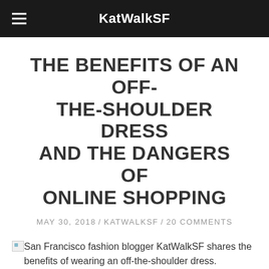KatWalkSF
THE BENEFITS OF AN OFF-THE-SHOULDER DRESS AND THE DANGERS OF ONLINE SHOPPING
MAY 30, 2018 / KATWALKSF / 20 COMMENTS
[Figure (photo): Broken image placeholder with alt text: San Francisco fashion blogger KatWalkSF shares the benefits of wearing an off-the-shoulder dress.]